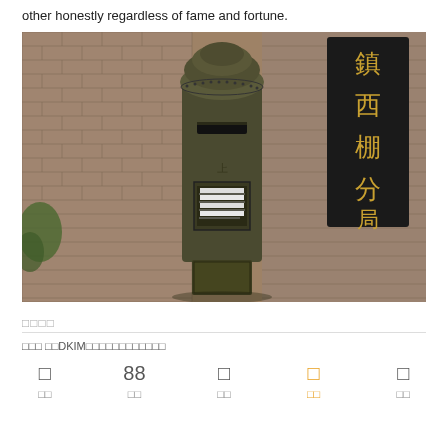other honestly regardless of fame and fortune.
[Figure (photo): A vintage dark bronze cylindrical mailbox/pillar box standing in a brick alleyway corner. Behind it is a black sign with Chinese characters (鎮西棚分局) in gold. The brick walls are old and weathered. There is some greenery visible on the left.]
□□□□
□□□ □□DKIM□□□□□□□□□□□□
□  88  □  □  □
□□  □□  □□  □□  □□